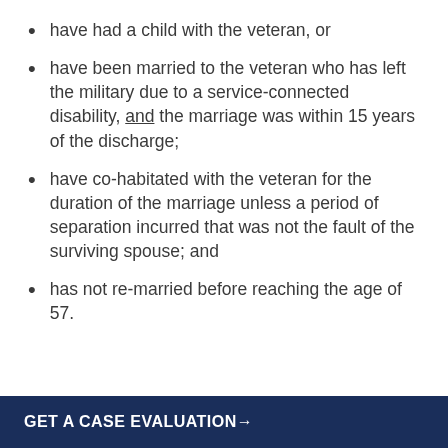have had a child with the veteran, or
have been married to the veteran who has left the military due to a service-connected disability, and the marriage was within 15 years of the discharge;
have co-habitated with the veteran for the duration of the marriage unless a period of separation incurred that was not the fault of the surviving spouse; and
has not re-married before reaching the age of 57.
GET A CASE EVALUATION→